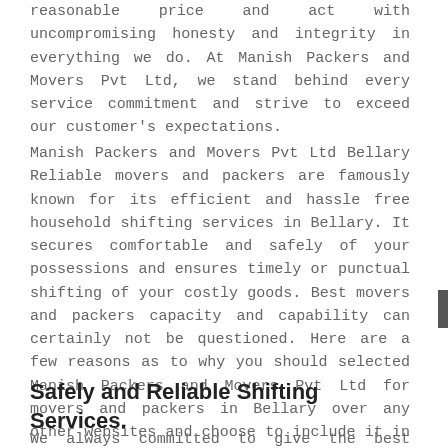reasonable price and act with uncompromising honesty and integrity in everything we do. At Manish Packers and Movers Pvt Ltd, we stand behind every service commitment and strive to exceed our customer's expectations.
Manish Packers and Movers Pvt Ltd Bellary Reliable movers and packers are famously known for its efficient and hassle free household shifting services in Bellary. It secures comfortable and safely of your possessions and ensures timely or punctual shifting of your costly goods. Best movers and packers capacity and capability can certainly not be questioned. Here are a few reasons as to why you should selected Manish Packers and Movers Pvt Ltd for movers and packers in Bellary over any other websites and choose to include it in this necessary as well as memorable facet of your life.
Safely and Reliable Shifting Services.
We always committed to give the best quality of our service...